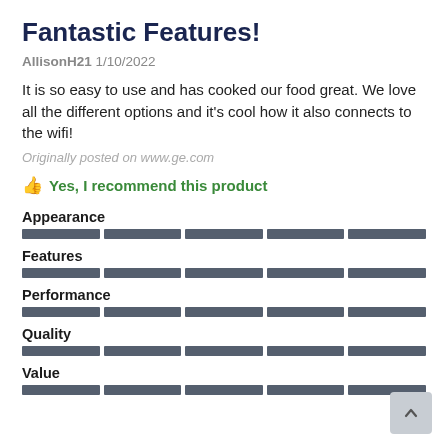Fantastic Features!
AllisonH21 1/10/2022
It is so easy to use and has cooked our food great. We love all the different options and it's cool how it also connects to the wifi!
Originally posted on www.ge.com
Yes, I recommend this product
Appearance
[Figure (other): 5-segment rating bar for Appearance, all 5 segments filled]
Features
[Figure (other): 5-segment rating bar for Features, all 5 segments filled]
Performance
[Figure (other): 5-segment rating bar for Performance, all 5 segments filled]
Quality
[Figure (other): 5-segment rating bar for Quality, all 5 segments filled]
Value
[Figure (other): 5-segment rating bar for Value, all 5 segments filled]